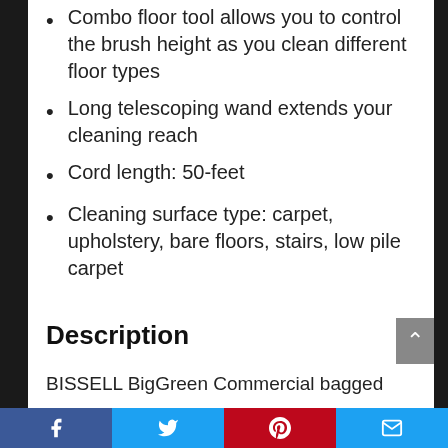Combo floor tool allows you to control the brush height as you clean different floor types
Long telescoping wand extends your cleaning reach
Cord length: 50-feet
Cleaning surface type: carpet, upholstery, bare floors, stairs, low pile carpet
Description
BISSELL BigGreen Commercial bagged
Facebook | Twitter | Pinterest | Email